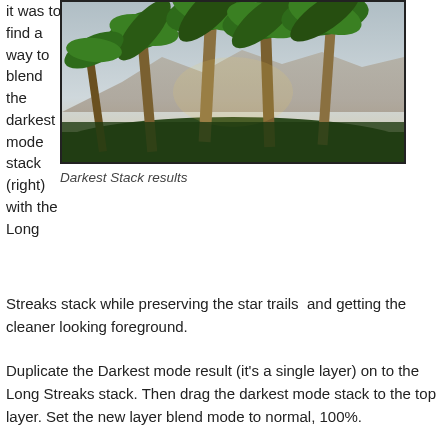it was to find a way to blend the darkest mode stack (right) with the Long Streaks stack while preserving the star trails  and getting the cleaner looking foreground.
[Figure (photo): Photograph of tall palm trees against a hazy sky, showing a darkest stack blending result]
Darkest Stack results
Duplicate the Darkest mode result (it's a single layer) on to the Long Streaks stack. Then drag the darkest mode stack to the top layer. Set the new layer blend mode to normal, 100%.